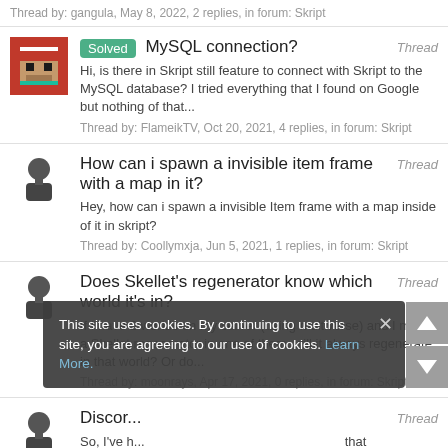Thread by: gangula, May 8, 2022, 2 replies, in forum: Skript
MySQL connection?
Hi, is there in Skript still feature to connect with Skript to the MySQL database? I tried everything that I found on Google but nothing of that...
Thread by: FlameikTV, Oct 20, 2021, 4 replies, in forum: Skript
How can i spawn a invisible item frame with a map in it?
Hey, how can i spawn a invisible Item frame with a map inside of it in skript?
Thread by: Coollymxja, Jun 5, 2021, 1 replies, in forum: Skript
Does Skellet's regenerator know which world it's in?
If I have 2 worlds on my server (using multiverse) and I make a Skellet regenerator in one of them, will it always regenerate in that world? Or do...
Thread by: moonrays, Apr 17, 2021, 0 replies, in forum: Skript
Discord...  Thread
So, I've h... that connects to Minecraft, Geometry Dash, and discord. I am using
This site uses cookies. By continuing to use this site, you are agreeing to our use of cookies. Learn More.